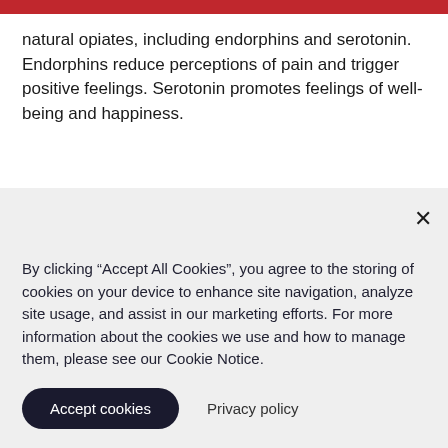natural opiates, including endorphins and serotonin. Endorphins reduce perceptions of pain and trigger positive feelings. Serotonin promotes feelings of well-being and happiness.
By clicking “Accept All Cookies”, you agree to the storing of cookies on your device to enhance site navigation, analyze site usage, and assist in our marketing efforts. For more information about the cookies we use and how to manage them, please see our Cookie Notice.
Accept cookies
Privacy policy